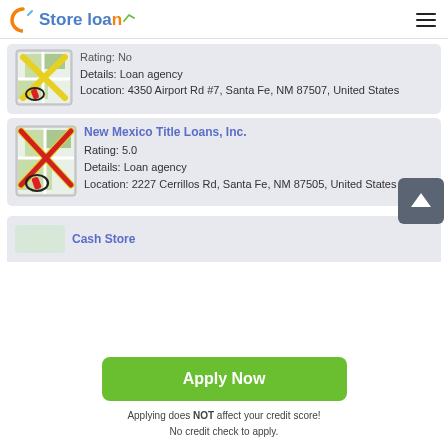[Figure (logo): Store loan logo with orange C and blue text]
Rating: No
Details: Loan agency
Location: 4350 Airport Rd #7, Santa Fe, NM 87507, United States
New Mexico Title Loans, Inc.
Rating: 5.0
Details: Loan agency
Location: 2227 Cerrillos Rd, Santa Fe, NM 87505, United States
Cash Store
Apply Now
Applying does NOT affect your credit score!
No credit check to apply.